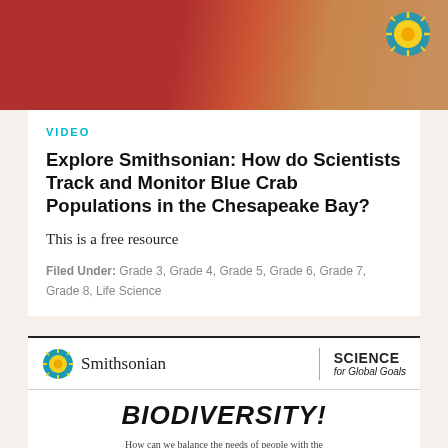[Figure (photo): Top portion of a photo showing people handling red containers outdoors, with a decorative sun badge overlay in top right corner]
VIDEO
Explore Smithsonian: How do Scientists Track and Monitor Blue Crab Populations in the Chesapeake Bay?
This is a free resource
Filed Under: Grade 3, Grade 4, Grade 5, Grade 6, Grade 7, Grade 8, Life Science
[Figure (logo): Smithsonian Science for Global Goals logo banner]
BIODIVERSITY! How can we balance the needs of people with the